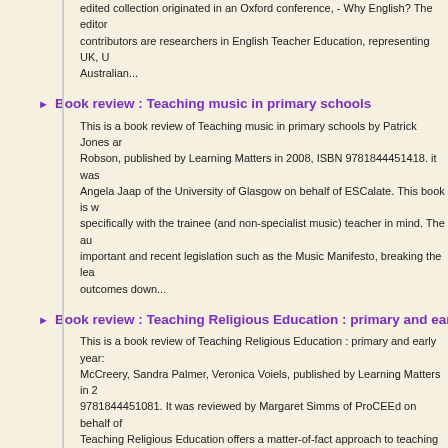edited collection originated in an Oxford conference, - Why English? The editors and contributors are researchers in English Teacher Education, representing UK, U... Australian...
Book review : Teaching music in primary schools
This is a book review of Teaching music in primary schools by Patrick Jones and Robson, published by Learning Matters in 2008, ISBN 9781844451418. it was ... Angela Jaap of the University of Glasgow on behalf of ESCalate. This book is written specifically with the trainee (and non-specialist music) teacher in mind. The au... important and recent legislation such as the Music Manifesto, breaking the lea... outcomes down...
Book review : Teaching Religious Education : primary and early yea...
This is a book review of Teaching Religious Education : primary and early year... McCreery, Sandra Palmer, Veronica Voiels, published by Learning Matters in 2... 9781844451081. It was reviewed by Margaret Simms of ProCEEd on behalf of... Teaching Religious Education offers a matter-of-fact approach to teaching Reli... Education to children in Chapter 3: Principles into practice. In Chapters 5 and 7... McCreery, Palmer...
Book review : The curriculum : theory and practice
This is a book review of The curriculum : theory and practice (6th ed.) by AV Ke... by Sage in 2009, ISBN 9781847872753. It was reviewed by Linda Barlow-Mea... Northumbria University on behalf of ESCalate. This is the 6th edition of Kelly's... Curriculum, a work first published in 1977. Kelly continues to argue strongly for... which promotes genuine education, a curriculum that will develop the whole pe... truly...